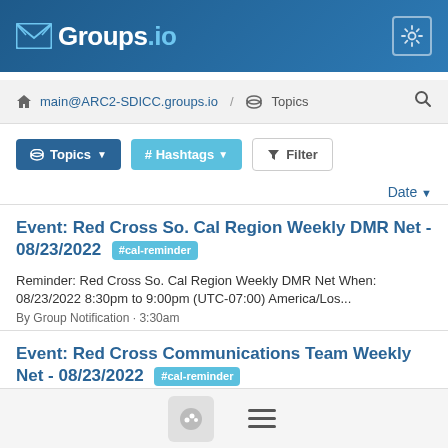Groups.io
main@ARC2-SDICC.groups.io / Topics
Topics  # Hashtags  Filter
Date
Event: Red Cross So. Cal Region Weekly DMR Net - 08/23/2022 #cal-reminder
Reminder: Red Cross So. Cal Region Weekly DMR Net When: 08/23/2022 8:30pm to 9:00pm (UTC-07:00) America/Los...
By Group Notification · 3:30am
Event: Red Cross Communications Team Weekly Net - 08/23/2022 #cal-reminder